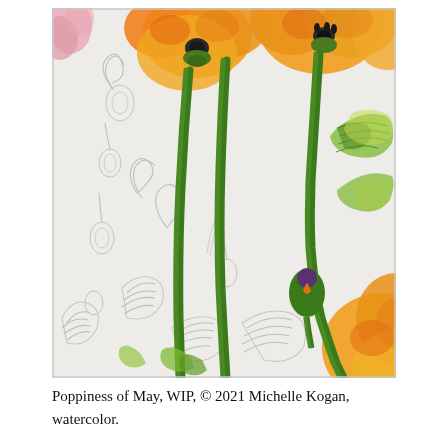[Figure (illustration): A watercolor painting in progress titled 'Poppiness of May, WIP' by Michelle Kogan, 2021. The artwork shows tall orange and yellow poppies with green stems, a partially colored bud, and green foliage on the right. The left and lower portions of the painting show pencil sketch outlines of additional poppy buds and leaves not yet painted with watercolor. A pink flower is partially visible at the top left corner.]
Poppiness of May, WIP, © 2021 Michelle Kogan, watercolor.